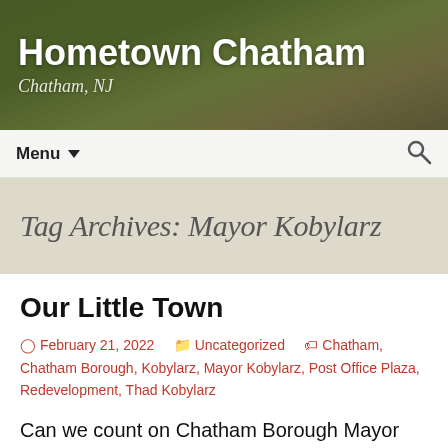Hometown Chatham
Chatham, NJ
Menu ▾  🔍
Tag Archives: Mayor Kobylarz
Our Little Town
⊙ February 21, 2022   🗂 Uncategorized   🏷 Chatham, Chatham Borough, Kobylarz, Mayor Kobylarz, Post Office Plaza, Redevelopment, Thad Kobylarz
Can we count on Chatham Borough Mayor Thad Kobylarz to protect us from over development